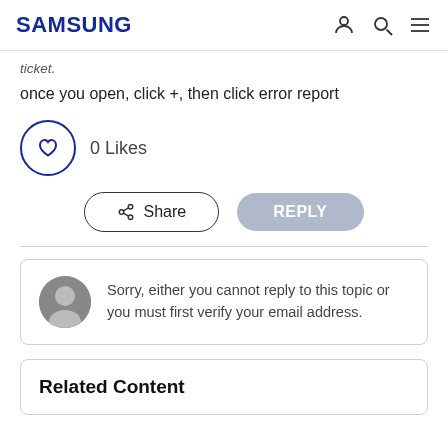SAMSUNG
ticket.
once you open, click +, then click error report
0 Likes
Share  REPLY
Sorry, either you cannot reply to this topic or you must first verify your email address.
Related Content